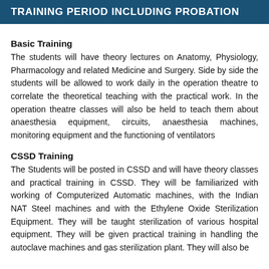TRAINING PERIOD INCLUDING PROBATION
Basic Training
The students will have theory lectures on Anatomy, Physiology, Pharmacology and related Medicine and Surgery. Side by side the students will be allowed to work daily in the operation theatre to correlate the theoretical teaching with the practical work. In the operation theatre classes will also be held to teach them about anaesthesia equipment, circuits, anaesthesia machines, monitoring equipment and the functioning of ventilators
CSSD Training
The Students will be posted in CSSD and will have theory classes and practical training in CSSD. They will be familiarized with working of Computerized Automatic machines, with the Indian NAT Steel machines and with the Ethylene Oxide Sterilization Equipment. They will be taught sterilization of various hospital equipment. They will be given practical training in handling the autoclave machines and gas sterilization plant. They will also be